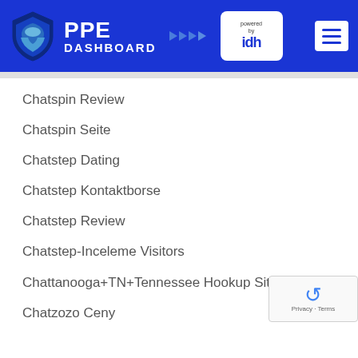[Figure (logo): PPE Dashboard logo with shield icon and IDH powered by badge, with hamburger menu on right, on blue background]
Chatspin Review
Chatspin Seite
Chatstep Dating
Chatstep Kontaktborse
Chatstep Review
Chatstep-Inceleme Visitors
Chattanooga+TN+Tennessee Hookup Sites
Chatzozo Ceny